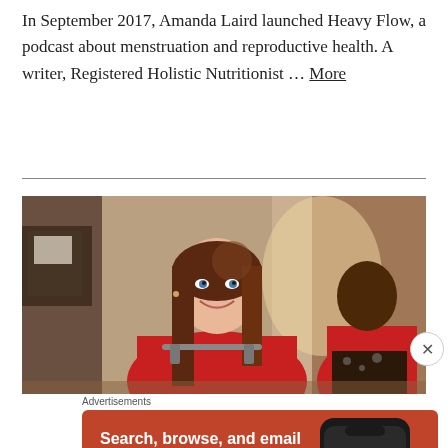In September 2017, Amanda Laird launched Heavy Flow, a podcast about menstruation and reproductive health. A writer, Registered Holistic Nutritionist … More
[Figure (photo): A smiling woman with long brown hair wearing a red top on a spin bike in a gym, with another woman in a red outfit visible in the background.]
Advertisements
[Figure (screenshot): DuckDuckGo advertisement banner with orange/red background. Text reads: Search, browse, and email with more privacy. All in One Free App. Shows a smartphone with the DuckDuckGo app and logo.]